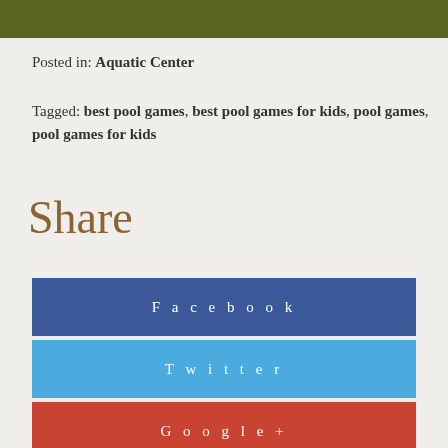[Figure (other): Olive/dark green header bar at top of page]
Posted in: Aquatic Center
Tagged: best pool games, best pool games for kids, pool games, pool games for kids
Share
Facebook
Twitter
Google +